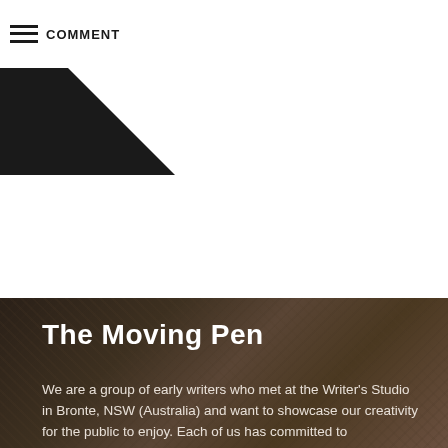COMMENT
[Figure (photo): Dark background photo of person in denim jacket, serving as hero image background for The Moving Pen website]
The Moving Pen
We are a group of early writers who met at the Writer's Studio in Bronte, NSW (Australia) and want to showcase our creativity for the public to enjoy. Each of us has committed to